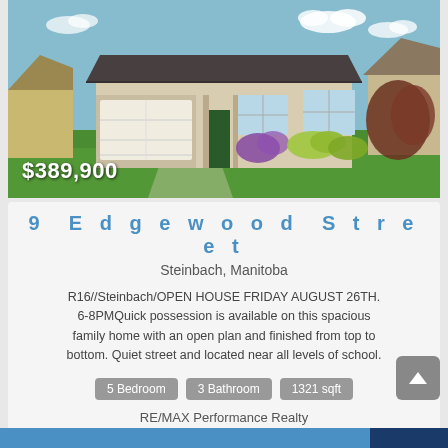[Figure (photo): Exterior photo of a bungalow-style suburban home with two-car garage, stucco finish, manicured lawn and garden, blue sky background. Price overlay: $389,900]
9 Edgewood Street
Steinbach, Manitoba
R16//Steinbach/OPEN HOUSE FRIDAY AUGUST 26TH. 6-8PMQuick possession is available on this spacious family home with an open plan and finished from top to bottom. Quiet street and located near all levels of school.
5 Bedroom
3 Bathroom
1321 sqft
RE/MAX Performance Realty